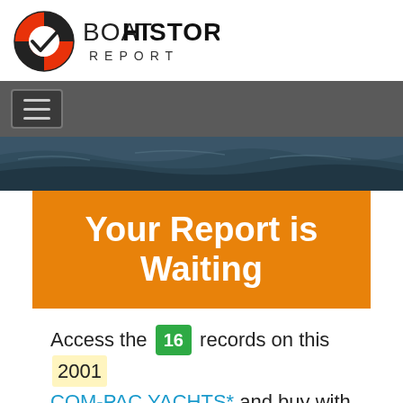[Figure (logo): Boat History Report logo with life preserver ring icon and bold text BOAT HISTORY REPORT]
[Figure (other): Navigation bar with hamburger menu icon on dark gray background]
[Figure (photo): Dark ocean/sea water background photo]
Your Report is Waiting
Access the 16 records on this 2001 COM-PAC YACHTS* and buy with